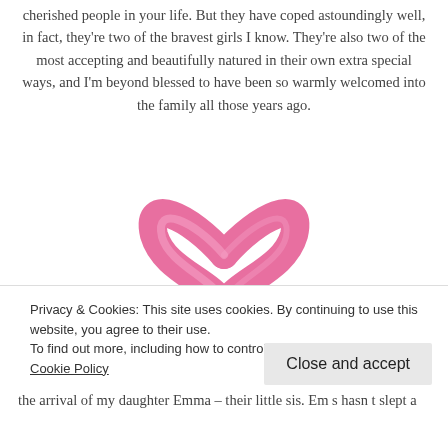cherished people in your life. But they have coped astoundingly well, in fact, they're two of the bravest girls I know. They're also two of the most accepting and beautifully natured in their own extra special ways, and I'm beyond blessed to have been so warmly welcomed into the family all those years ago.
[Figure (illustration): Pink breast cancer awareness ribbon on white background]
Privacy & Cookies: This site uses cookies. By continuing to use this website, you agree to their use.
To find out more, including how to control cookies, see here: Cookie Policy
the arrival of my daughter Emma – their little sis. Em s hasn t slept a